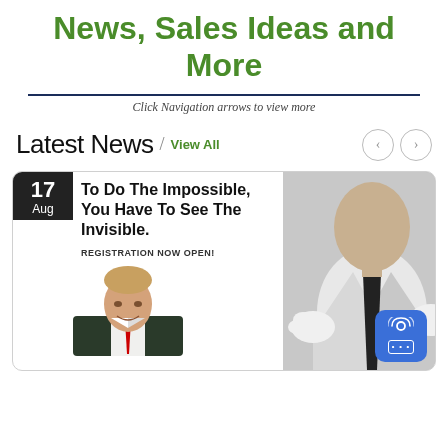News, Sales Ideas and More
Click Navigation arrows to view more
Latest News / View All
[Figure (screenshot): News card with date badge showing '17 Aug', headline 'To Do The Impossible, You Have To See The Invisible.', registration open text, a photo of a man in a suit, and a magician image on the right with a podcast widget badge.]